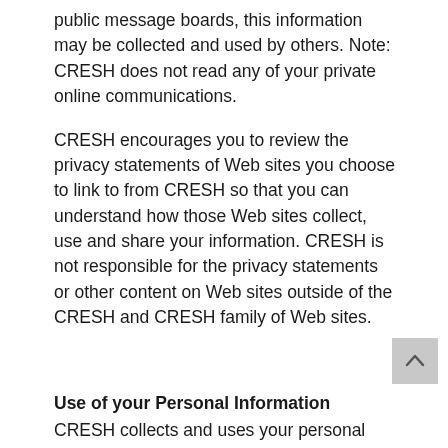public message boards, this information may be collected and used by others. Note: CRESH does not read any of your private online communications.
CRESH encourages you to review the privacy statements of Web sites you choose to link to from CRESH so that you can understand how those Web sites collect, use and share your information. CRESH is not responsible for the privacy statements or other content on Web sites outside of the CRESH and CRESH family of Web sites.
Use of your Personal Information
CRESH collects and uses your personal